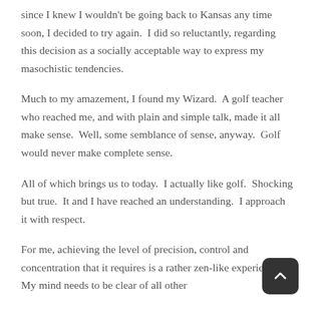since I knew I wouldn't be going back to Kansas any time soon, I decided to try again.  I did so reluctantly, regarding this decision as a socially acceptable way to express my masochistic tendencies.
Much to my amazement, I found my Wizard.  A golf teacher who reached me, and with plain and simple talk, made it all make sense.  Well, some semblance of sense, anyway.  Golf would never make complete sense.
All of which brings us to today.  I actually like golf.  Shocking but true.  It and I have reached an understanding.  I approach it with respect.
For me, achieving the level of precision, control and concentration that it requires is a rather zen-like experience.  My mind needs to be clear of all other